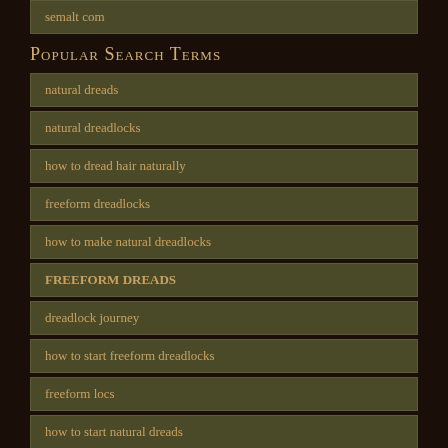semalt com
Popular Search Terms
natural dreads
natural dreadlocks
how to dread hair naturally
freeform dreadlocks
how to make natural dreadlocks
FREEFORM DREADS
dreadlock journey
how to start freeform dreadlocks
freeform locs
how to start natural dreads
NEWEST COMMENTS